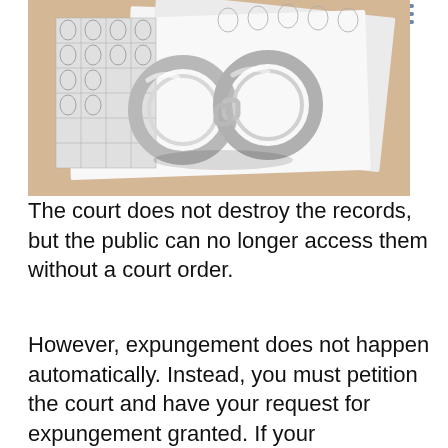[Figure (photo): Photo of handcuffs resting on fingerprint cards and white papers on a wooden surface]
The court does not destroy the records, but the public can no longer access them without a court order.
However, expungement does not happen automatically. Instead, you must petition the court and have your request for expungement granted. If your expungement efforts are successful, then all records held by the Virginia Criminal Information Network, National Crime Information